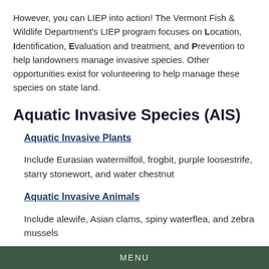However, you can LIEP into action! The Vermont Fish & Wildlife Department's LIEP program focuses on Location, Identification, Evaluation and treatment, and Prevention to help landowners manage invasive species. Other opportunities exist for volunteering to help manage these species on state land.
Aquatic Invasive Species (AIS)
Aquatic Invasive Plants
Include Eurasian watermilfoil, frogbit, purple loosestrife, starry stonewort, and water chestnut
Aquatic Invasive Animals
Include alewife, Asian clams, spiny waterflea, and zebra mussels
MENU